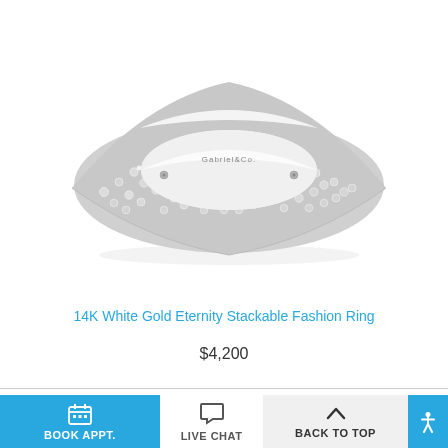[Figure (photo): A 14K white gold eternity stackable fashion ring with three rows of pavé-set round diamonds, shown at an angle on a white background. The inner band is engraved with 'Gabriel&Co.']
14K White Gold Eternity Stackable Fashion Ring
$4,200
BOOK APPT.   LIVE CHAT   BACK TO TOP